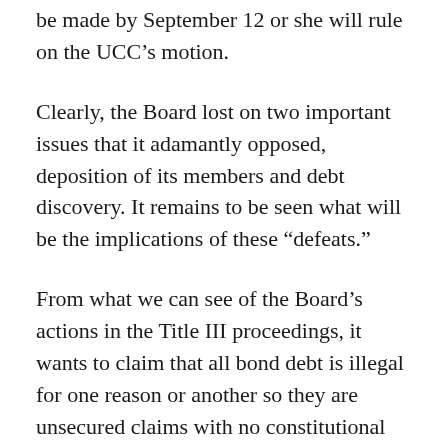be made by September 12 or she will rule on the UCC's motion.
Clearly, the Board lost on two important issues that it adamantly opposed, deposition of its members and debt discovery. It remains to be seen what will be the implications of these “defeats.”
From what we can see of the Board’s actions in the Title III proceedings, it wants to claim that all bond debt is illegal for one reason or another so they are unsecured claims with no constitutional priority (see Article VI, section 8 of the PR Constitution). This way it will substantially reduce debt payment and justify the ridiculously low debt service in the Fiscal Pl…